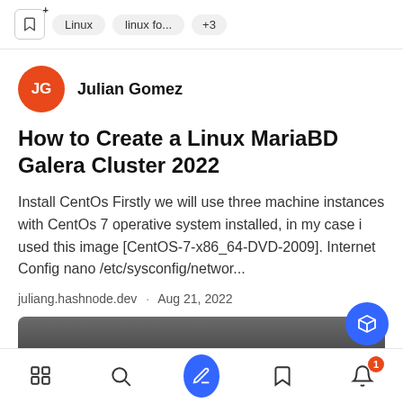Linux  linux fo...  +3
JG  Julian Gomez
How to Create a Linux MariaBD Galera Cluster 2022
Install CentOs Firstly we will use three machine instances with CentOs 7 operative system installed, in my case i used this image [CentOS-7-x86_64-DVD-2009]. Internet Config nano /etc/sysconfig/networ...
juliang.hashnode.dev · Aug 21, 2022
[Figure (screenshot): Dark gradient article thumbnail image with a blue 3D box FAB button overlay]
Navigation bar with feed, search, compose, bookmarks, and notifications (badge: 1)